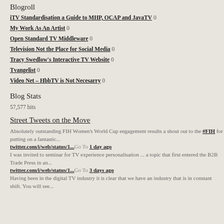Blogroll
iTV Standardisation a Guide to MHP, OCAP and JavaTV 0
My Work As An Artist 0
Open Standard TV Middleware 0
Television Not the Place for Social Media 0
Tracy Swedlow's Interactive TV Website 0
Tvangelist 0
Video Net – HbbTV is Not Necesarry 0
Blog Stats
57,577 hits
Street Tweets on the Move
Absolutely outstanding FIH Women's World Cup engagement results a shout out to the #FIH for putting on a fantastic...
twitter.com/i/web/status/1...Go To 1 day ago
I was invited to seminar for TV experience personalisation ... a topic that first entered the B2B Trade Press in an...
twitter.com/i/web/status/1...Go To 3 days ago
Having been in the digital TV industry it is clear that we have an industry that is in constant shift. You will see...